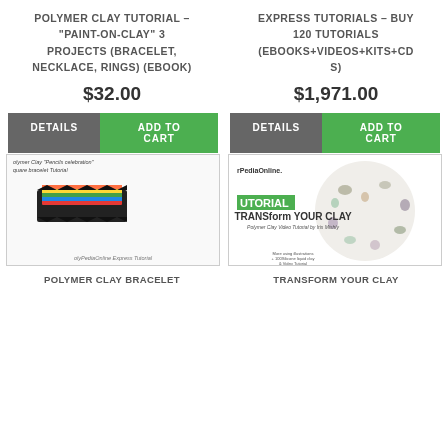POLYMER CLAY TUTORIAL – "PAINT-ON-CLAY" 3 PROJECTS (BRACELET, NECKLACE, RINGS) (EBOOK)
EXPRESS TUTORIALS – BUY 120 TUTORIALS (EBOOKS+VIDEOS+KITS+CDS)
$32.00
$1,971.00
DETAILS
ADD TO CART
DETAILS
ADD TO CART
[Figure (photo): Polymer clay bracelet tutorial cover image showing colorful square bracelet]
[Figure (photo): TRANSform YOUR CLAY polymer clay video tutorial cover with circular arrangement of clay animals]
POLYMER CLAY BRACELET
TRANSFORM YOUR CLAY